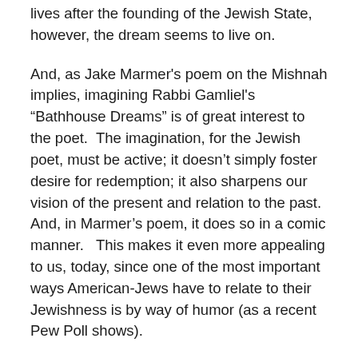lives after the founding of the Jewish State, however, the dream seems to live on.
And, as Jake Marmer's poem on the Mishnah implies, imagining Rabbi Gamliel's “Bathhouse Dreams” is of great interest to the poet.  The imagination, for the Jewish poet, must be active; it doesn’t simply foster desire for redemption; it also sharpens our vision of the present and relation to the past.  And, in Marmer’s poem, it does so in a comic manner.   This makes it even more appealing to us, today, since one of the most important ways American-Jews have to relate to their Jewishness is by way of humor (as a recent Pew Poll shows).
I’d like to briefly turn to Freud’s theory of the dream to show how this appeal to the dream works on many levels.